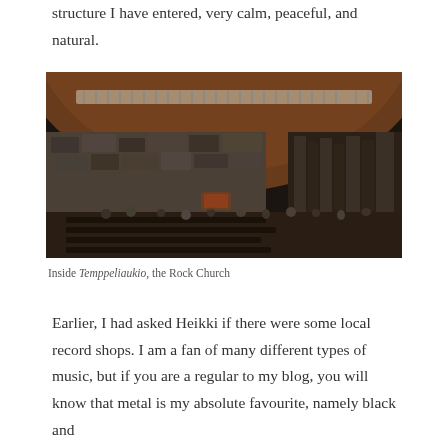structure I have entered, very calm, peaceful, and natural.
[Figure (photo): Interior of Temppeliaukio, the Rock Church in Helsinki. Shows the circular copper dome ceiling with skylights, rough stone walls, pipe organ on the right, and congregation seated in wooden pews.]
Inside Temppeliaukio, the Rock Church
Earlier, I had asked Heikki if there were some local record shops. I am a fan of many different types of music, but if you are a regular to my blog, you will know that metal is my absolute favourite, namely black and